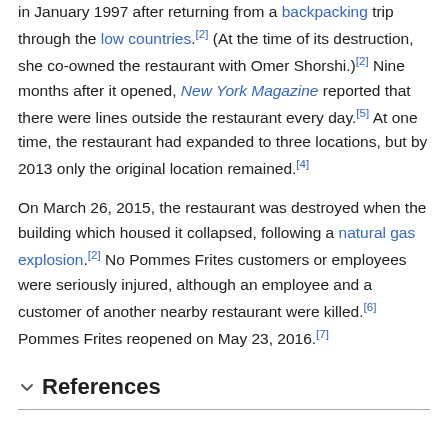in January 1997 after returning from a backpacking trip through the low countries.[2] (At the time of its destruction, she co-owned the restaurant with Omer Shorshi.)[2] Nine months after it opened, New York Magazine reported that there were lines outside the restaurant every day.[5] At one time, the restaurant had expanded to three locations, but by 2013 only the original location remained.[4]
On March 26, 2015, the restaurant was destroyed when the building which housed it collapsed, following a natural gas explosion.[2] No Pommes Frites customers or employees were seriously injured, although an employee and a customer of another nearby restaurant were killed.[6] Pommes Frites reopened on May 23, 2016.[7]
References